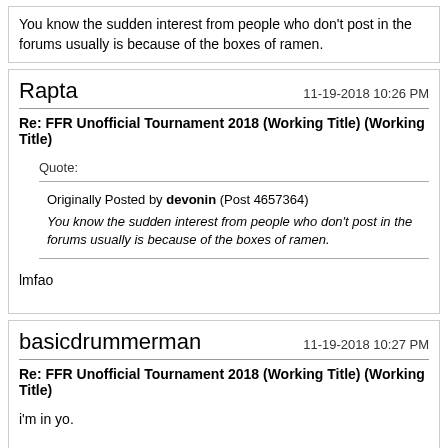You know the sudden interest from people who don't post in the forums usually is because of the boxes of ramen.
Rapta
11-19-2018 10:26 PM
Re: FFR Unofficial Tournament 2018 (Working Title) (Working Title)
Quote:
Originally Posted by devonin (Post 4657364)
You know the sudden interest from people who don't post in the forums usually is because of the boxes of ramen.
lmfao
basicdrummerman
11-19-2018 10:27 PM
Re: FFR Unofficial Tournament 2018 (Working Title) (Working Title)
i'm in yo.